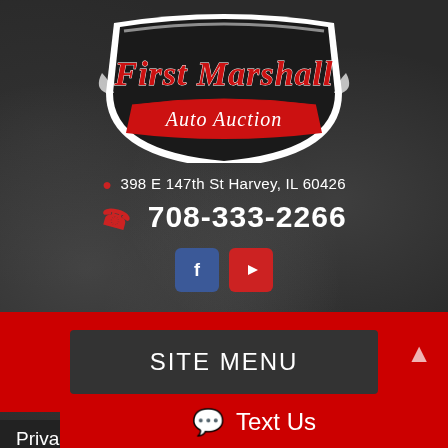[Figure (logo): First Marshall Auto Auction logo — shield shape with dark background, red cursive 'First Marshall' text and red banner with 'Auto Auction' in white cursive text]
398 E 147th St Harvey, IL 60426
708-333-2266
[Figure (other): Facebook and YouTube social media icon buttons]
SITE MENU
Privacy Policy of First Marshall Auto A...
Text Us